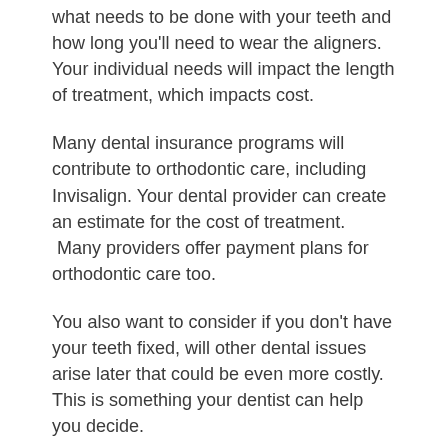what needs to be done with your teeth and how long you'll need to wear the aligners. Your individual needs will impact the length of treatment, which impacts cost.
Many dental insurance programs will contribute to orthodontic care, including Invisalign. Your dental provider can create an estimate for the cost of treatment.  Many providers offer payment plans for orthodontic care too.
You also want to consider if you don't have your teeth fixed, will other dental issues arise later that could be even more costly. This is something your dentist can help you decide.
7.  Is Invisalign Safe?